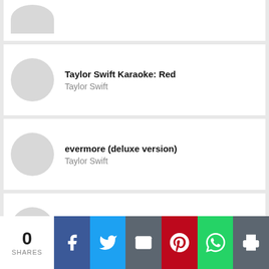[Figure (screenshot): Partial card at top showing a cropped circle/album art placeholder]
Taylor Swift Karaoke: Red
Taylor Swift
evermore (deluxe version)
Taylor Swift
willow (lonely witch version) - Single
Taylor Swift
0 SHARES
[Figure (infographic): Social share bar with Facebook, Twitter, Email, Pinterest, WhatsApp, Print buttons]